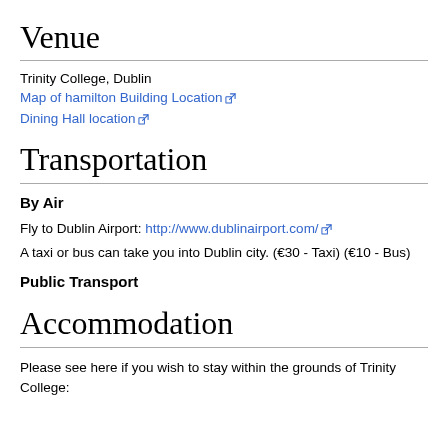Venue
Trinity College, Dublin
Map of hamilton Building Location
Dining Hall location
Transportation
By Air
Fly to Dublin Airport: http://www.dublinairport.com/
A taxi or bus can take you into Dublin city. (€30 - Taxi) (€10 - Bus)
Public Transport
Accommodation
Please see here if you wish to stay within the grounds of Trinity College: